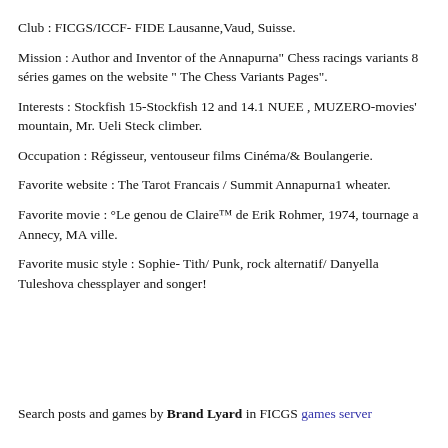Club : FICGS/ICCF- FIDE Lausanne,Vaud, Suisse.
Mission : Author and Inventor of the Annapurna" Chess racings variants 8 séries games on the website " The Chess Variants Pages".
Interests : Stockfish 15-Stockfish 12 and 14.1 NUEE , MUZERO-movies' mountain, Mr. Ueli Steck climber.
Occupation : Régisseur, ventouseur films Cinéma/& Boulangerie.
Favorite website : The Tarot Francais / Summit Annapurna1 wheater.
Favorite movie : °Le genou de Claire™ de Erik Rohmer, 1974, tournage a Annecy, MA ville.
Favorite music style : Sophie- Tith/ Punk, rock alternatif/ Danyella Tuleshova chessplayer and songer!
Search posts and games by Brand Lyard in FICGS games server